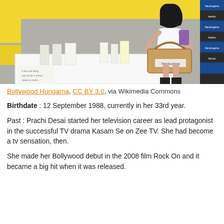[Figure (photo): A woman in a white dress holding a wicker basket with a Neutrogena label at what appears to be a Neutrogena promotional event, with yellow and white branded signage in the background.]
Bollywood Hungama, CC BY 3.0, via Wikimedia Commons
Birthdate : 12 September 1988, currently in her 33rd year.
Past : Prachi Desai started her television career as lead protagonist in the successful TV drama Kasam Se on Zee TV. She had become a tv sensation, then.
She made her Bollywood debut in the 2008 film Rock On and it became a big hit when it was released.